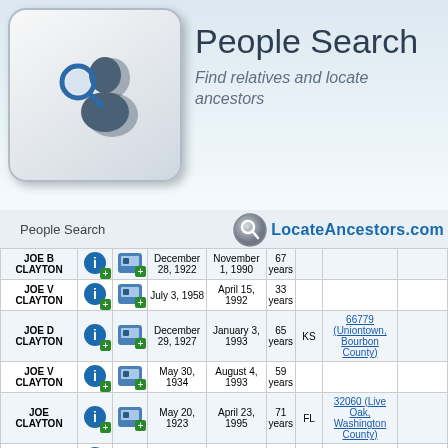[Figure (logo): People Search logo with keyboard key graphic and person with magnifying glass icon]
People Search
Find relatives and locate ancestors
People Search   LocateAncestors.com
| Name |  |  | Birth Date | Death Date | Age | State | Zip Code | Zip Code |
| --- | --- | --- | --- | --- | --- | --- | --- | --- |
| JOE B CLAYTON |  |  | December 28, 1922 | November 1, 1990 | 67 years |  |  |  |
| JOE V CLAYTON |  |  | July 3, 1958 | April 15, 1992 | 33 years |  |  |  |
| JOE D CLAYTON |  |  | December 29, 1927 | January 3, 1993 | 65 years | KS | 66779 (Uniontown, Bourbon County) |  |
| JOE V CLAYTON |  |  | May 30, 1934 | August 4, 1993 | 59 years |  |  |  |
| JOE CLAYTON |  |  | May 20, 1923 | April 23, 1995 | 71 years | FL | 32060 (Live Oak, Washington County) |  |
| JOE CLAYTON |  |  | June 11, 1892 | January 1, 1996 | 103 years |  | 34666 | 34666 |
| JOE W CLAYTON |  |  | May 23, 1940 | March 5, 1996 | 55 years | TN | 38181 (Memphis, Shelby County) |  |
| JOE CLAYTON |  |  | October 26, 1921 | November 16, 1997 | 76 years | MO | 65807 (Springfield, Greene County) |  |